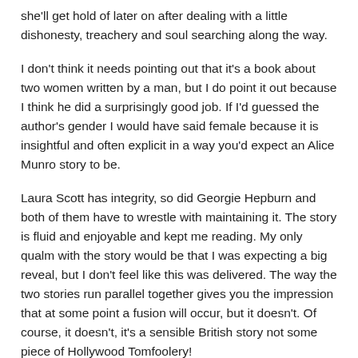she'll get hold of later on after dealing with a little dishonesty, treachery and soul searching along the way.
I don't think it needs pointing out that it's a book about two women written by a man, but I do point it out because I think he did a surprisingly good job. If I'd guessed the author's gender I would have said female because it is insightful and often explicit in a way you'd expect an Alice Munro story to be.
Laura Scott has integrity, so did Georgie Hepburn and both of them have to wrestle with maintaining it. The story is fluid and enjoyable and kept me reading. My only qualm with the story would be that I was expecting a big reveal, but I don't feel like this was delivered. The way the two stories run parallel together gives you the impression that at some point a fusion will occur, but it doesn't. Of course, it doesn't, it's a sensible British story not some piece of Hollywood Tomfoolery!
Ultimately, this story already has that tingly, BBC one, lottery funded, BAFTA winning actresses kind of feel to it. It's very British, set in North London and you can hear Emma Thompson's voice coming off